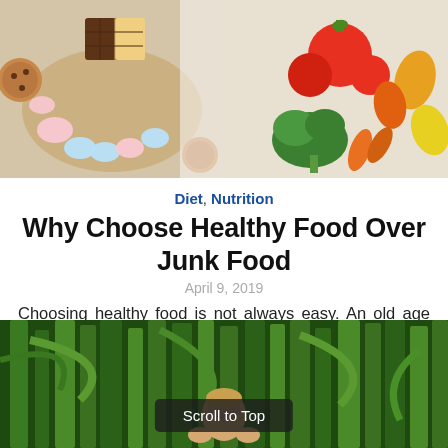[Figure (photo): Top image split: left side shows chocolate bars, marshmallows, cookies and candy on a wooden board; right side shows colorful fresh vegetables including tomatoes, broccoli, peppers, carrots against white background]
Diet, Nutrition
Why Choose Healthy Food Over Junk Food
April 9, 2019
Choosing healthy food is not always easy. An old age war is running between Healthy food and junk food. When choosing between healthy food and ...
[Figure (photo): Bottom image shows a child among tall green corn stalks in a field, with a 'Scroll to Top' button overlay]